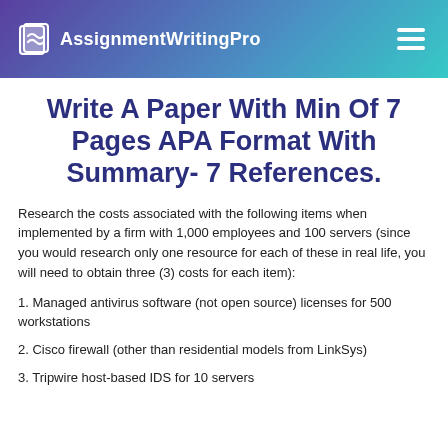AssignmentWritingPro
Write A Paper With Min Of 7 Pages APA Format With Summary- 7 References.
Research the costs associated with the following items when implemented by a firm with 1,000 employees and 100 servers (since you would research only one resource for each of these in real life, you will need to obtain three (3) costs for each item):
1. Managed antivirus software (not open source) licenses for 500 workstations
2. Cisco firewall (other than residential models from LinkSys)
3. Tripwire host-based IDS for 10 servers